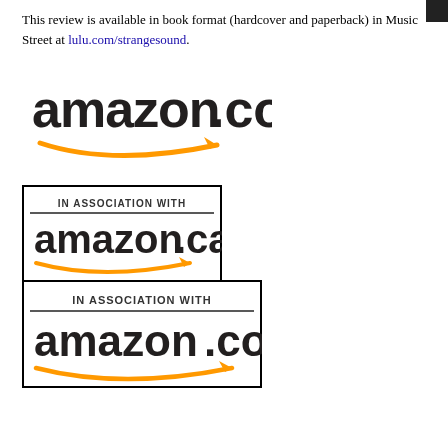This review is available in book format (hardcover and paperback) in Music Street at lulu.com/strangesound.
[Figure (logo): Amazon.com logo with orange swoosh arrow]
[Figure (logo): Amazon.ca logo in a bordered box with 'IN ASSOCIATION WITH' text above]
[Figure (logo): Amazon.co.uk logo in a bordered box with 'IN ASSOCIATION WITH' text above]